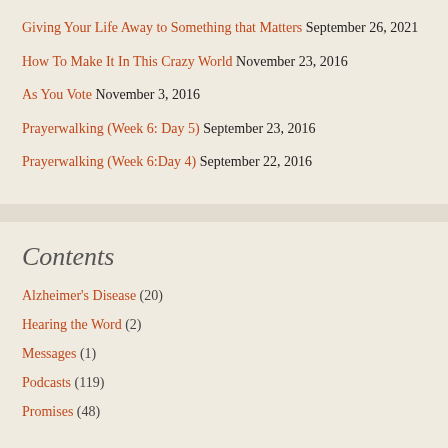Giving Your Life Away to Something that Matters September 26, 2021
How To Make It In This Crazy World November 23, 2016
As You Vote November 3, 2016
Prayerwalking (Week 6: Day 5) September 23, 2016
Prayerwalking (Week 6:Day 4) September 22, 2016
Contents
Alzheimer's Disease (20)
Hearing the Word (2)
Messages (1)
Podcasts (119)
Promises (48)